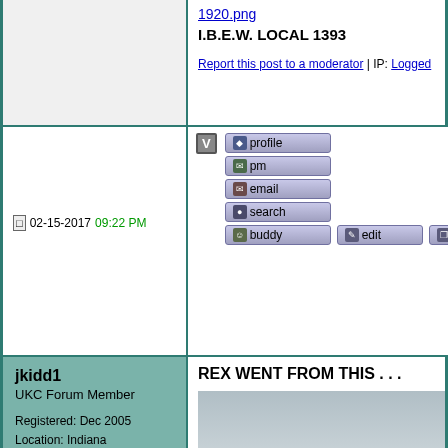1920.png
I.B.E.W. LOCAL 1393
Report this post to a moderator | IP: Logged
02-15-2017 09:22 PM
[Figure (screenshot): Forum action buttons: profile, pm, email, search, buddy, edit, quote]
jkidd1
UKC Forum Member
Registered: Dec 2005
Location: Indiana
Posts: 2571
REX WENT FROM THIS . . .
[Figure (photo): Photo of a beagle dog standing on a lawn with a road and bare trees in background]